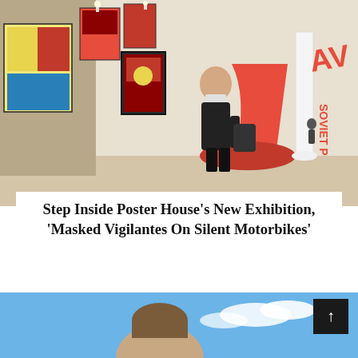[Figure (photo): Interior of a museum/gallery exhibition with Soviet-era posters on the walls, a person wearing a face mask and dark clothing browsing the exhibit, white columns, and bold red graphic design elements on the walls reading 'Soviet' and 'Avant'.]
Step Inside Poster House’s New Exhibition, ‘Masked Vigilantes On Silent Motorbikes’
[Figure (photo): Bottom portion of a second article preview image showing a person’s head and shoulders against a blue sky with clouds.]